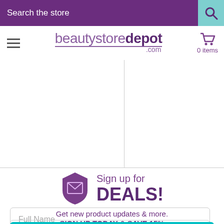Search the store
[Figure (logo): beautystoredepot.com logo with hamburger menu and cart showing 0 items]
[Figure (infographic): Sign up for DEALS! promotional banner with shield/envelope icon. Get new product updates & more. SIGN UP TODAY & SAVE 15%]
Full Name
Your email address